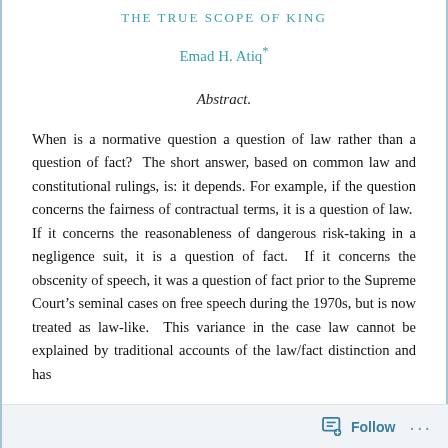THE TRUE SCOPE OF KING
Emad H. Atiq*
Abstract.
When is a normative question a question of law rather than a question of fact?  The short answer, based on common law and constitutional rulings, is: it depends.  For example, if the question concerns the fairness of contractual terms, it is a question of law.  If it concerns the reasonableness of dangerous risk-taking in a negligence suit, it is a question of fact.  If it concerns the obscenity of speech, it was a question of fact prior to the Supreme Court’s seminal cases on free speech during the 1970s, but is now treated as law-like.  This variance in the case law cannot be explained by traditional accounts of the law/fact distinction and has
Follow